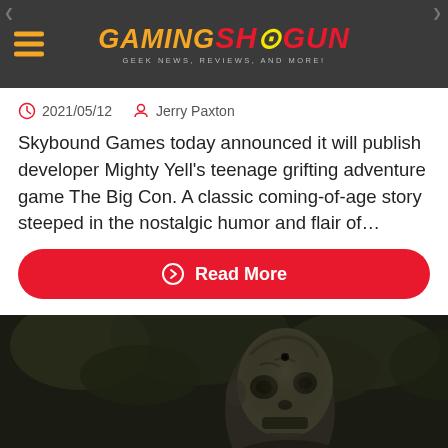GamingShogun — GEEK NEWS, REVIEWS, AND MORE!
2021/05/12  Jerry Paxton
Skybound Games today announced it will publish developer Mighty Yell's teenage grifting adventure game The Big Con. A classic coming-of-age story steeped in the nostalgic humor and flair of...
Read More
[Figure (photo): Close-up of a zombie or undead creature face from a video game, dark horror aesthetic with decayed skin and sunken eyes]